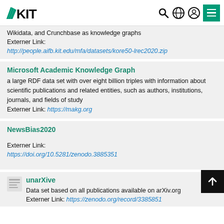KIT header with logo and navigation icons
Wikidata, and Crunchbase as knowledge graphs
Externer Link: http://people.aifb.kit.edu/mfa/datasets/kore50-lrec2020.zip
Microsoft Academic Knowledge Graph
a large RDF data set with over eight billion triples with information about scientific publications and related entities, such as authors, institutions, journals, and fields of study
Externer Link: https://makg.org
NewsBias2020
Externer Link: https://doi.org/10.5281/zenodo.3885351
unarXive
Data set based on all publications available on arXiv.org
Externer Link: https://zenodo.org/record/3385851